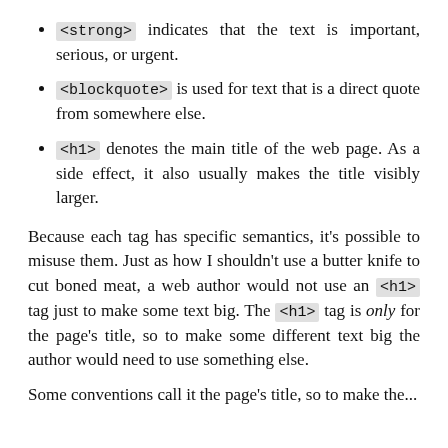<strong> indicates that the text is important, serious, or urgent.
<blockquote> is used for text that is a direct quote from somewhere else.
<h1> denotes the main title of the web page. As a side effect, it also usually makes the title visibly larger.
Because each tag has specific semantics, it's possible to misuse them. Just as how I shouldn't use a butter knife to cut boned meat, a web author would not use an <h1> tag just to make some text big. The <h1> tag is only for the page's title, so to make some different text big the author would need to use something else.
Some conventions call it...